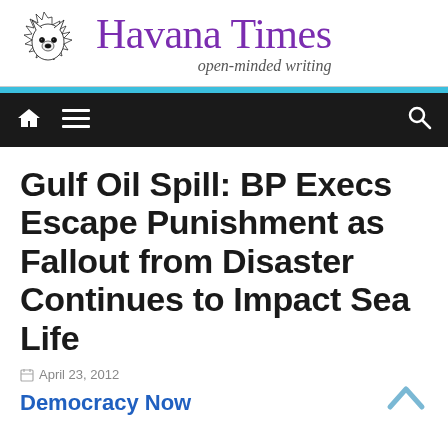[Figure (logo): Havana Times logo with wolf illustration and purple serif text reading 'Havana Times' and italic subtitle 'open-minded writing']
Havana Times — open-minded writing
Gulf Oil Spill: BP Execs Escape Punishment as Fallout from Disaster Continues to Impact Sea Life
April 23, 2012
Democracy Now